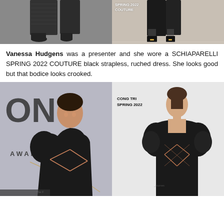[Figure (photo): Two side-by-side photos at top: left shows a person in a black outfit from waist down on a gray carpet; right shows a runway model in black outfit with SPRING 2022 COUTURE label overlay]
Vanessa Hudgens was a presenter and she wore a SCHIAPARELLI SPRING 2022 COUTURE black strapless, ruched dress. She looks good but that bodice looks crooked.
[Figure (photo): Two side-by-side photos at bottom: left shows a woman at Tony Awards wearing a black off-shoulder puff-sleeve dress with geometric cutout details; right shows a runway model in the same CONG TRI SPRING 2022 black puff-sleeve dress with diamond cutouts]